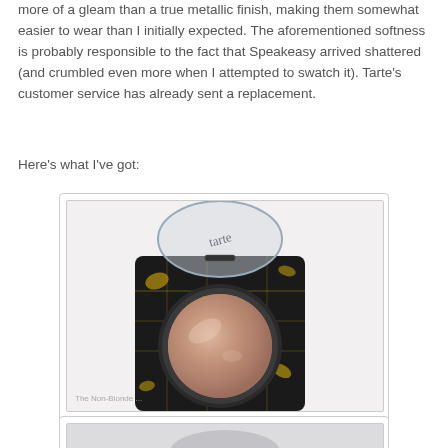more of a gleam than a true metallic finish, making them somewhat easier to wear than I initially expected. The aforementioned softness is probably responsible to the fact that Speakeasy arrived shattered (and crumbled even more when I attempted to swatch it). Tarte's customer service has already sent a replacement.
Here's what I've got:
[Figure (photo): A Tarte eyeshadow compact named 'Dame' — a black and gold patterned square compact with a clear lid, containing a round mauve/rose-gold shimmer eyeshadow pan. Watermark reads 'The Non-Blonde'.]
Dame
[Figure (photo): Partial view of another eyeshadow compact, bottom of page.]